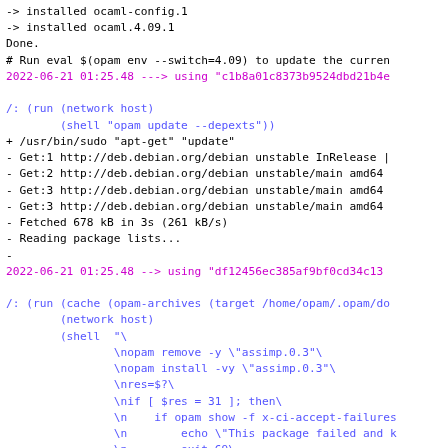-> installed ocaml-config.1
-> installed ocaml.4.09.1
Done.
# Run eval $(opam env --switch=4.09) to update the curren
2022-06-21 01:25.48 ---> using "c1b8a01c8373b9524dbd21b4e

/: (run (network host)
        (shell "opam update --depexts"))
+ /usr/bin/sudo "apt-get" "update"
- Get:1 http://deb.debian.org/debian unstable InRelease |
- Get:2 http://deb.debian.org/debian unstable/main amd64
- Get:3 http://deb.debian.org/debian unstable/main amd64
- Get:3 http://deb.debian.org/debian unstable/main amd64
- Fetched 678 kB in 3s (261 kB/s)
- Reading package lists...
-
2022-06-21 01:25.48 --> using "df12456ec385af9bf0cd34c13

/: (run (cache (opam-archives (target /home/opam/.opam/do
        (network host)
        (shell  "\
                \nopam remove -y \"assimp.0.3\"\
                \nopam install -vy \"assimp.0.3\"\
                \nres=$?\
                \nif [ $res = 31 ]; then\
                \n    if opam show -f x-ci-accept-failures
                \n        echo \"This package failed and k
                \n        exit 69\
                \n    fi\
                \nfi\
                \n...